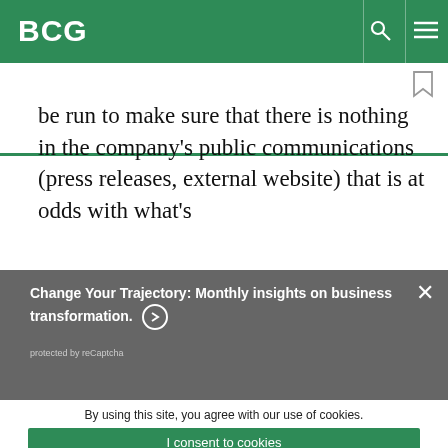BCG
be run to make sure that there is nothing in the company's public communications (press releases, external website) that is at odds with what's
Change Your Trajectory: Monthly insights on business transformation.
protected by reCaptcha
By using this site, you agree with our use of cookies.
I consent to cookies
Want to know more?
Read our Cookie Policy